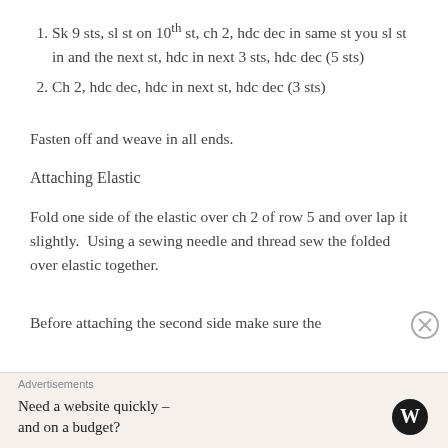Sk 9 sts, sl st on 10th st, ch 2, hdc dec in same st you sl st in and the next st, hdc in next 3 sts, hdc dec (5 sts)
Ch 2, hdc dec, hdc in next st, hdc dec (3 sts)
Fasten off and weave in all ends.
Attaching Elastic
Fold one side of the elastic over ch 2 of row 5 and over lap it slightly.  Using a sewing needle and thread sew the folded over elastic together.
Before attaching the second side make sure the
Advertisements
Need a website quickly – and on a budget?